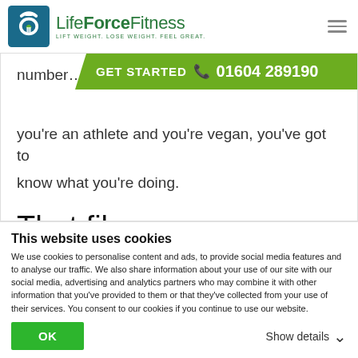LifeForceFitness — LIFT WEIGHT. LOSE WEIGHT. FEEL GREAT.
[Figure (infographic): Green CTA banner with text GET STARTED and phone number 01604 289190]
number… you're an athlete and you're vegan, you've got to know what you're doing.
That film
This website uses cookies
We use cookies to personalise content and ads, to provide social media features and to analyse our traffic. We also share information about your use of our site with our social media, advertising and analytics partners who may combine it with other information that you've provided to them or that they've collected from your use of their services. You consent to our cookies if you continue to use our website.
OK
Show details